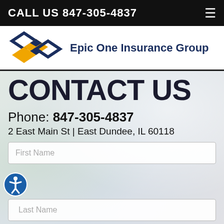CALL US 847-305-4837
[Figure (logo): Epic One Insurance Group logo — three overlapping diamond shapes in blue and gold, with company name to the right]
CONTACT US
Phone: 847-305-4837
2 East Main St | East Dundee, IL 60118
First Name
Last Name